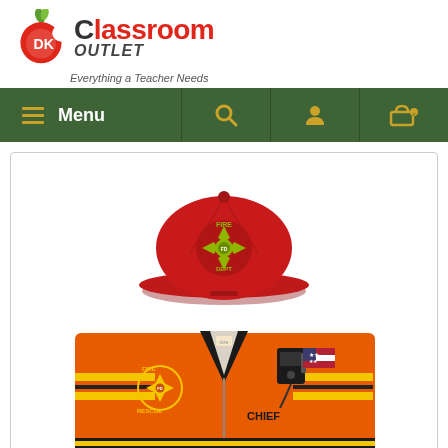[Figure (logo): DK Classroom Outlet logo with apple graphic and tagline 'Everything a Teacher Needs']
Menu | Search | Account | Cart navigation bar
[Figure (photo): A children's firefighter costume set including a red baseball cap with Fire Dept emblem and an orange firefighter shirt with yellow stripes, black collar, CHIEF badge, radio, and American flag patch]